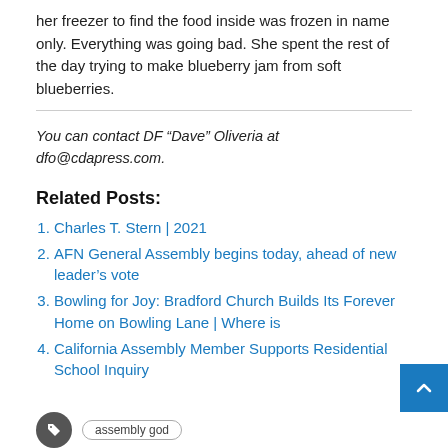her freezer to find the food inside was frozen in name only. Everything was going bad. She spent the rest of the day trying to make blueberry jam from soft blueberries.
You can contact DF “Dave” Oliveria at dfo@cdapress.com.
Related Posts:
Charles T. Stern | 2021
AFN General Assembly begins today, ahead of new leader’s vote
Bowling for Joy: Bradford Church Builds Its Forever Home on Bowling Lane | Where is
California Assembly Member Supports Residential School Inquiry